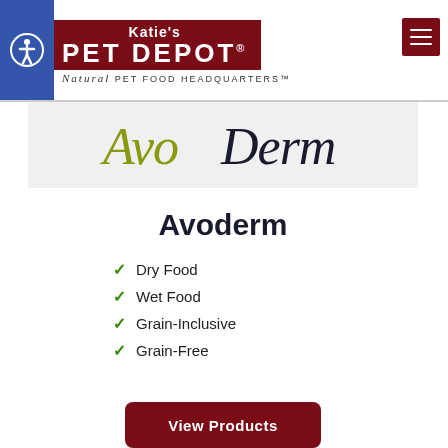Katie's PET DEPOT - Natural Pet Food Headquarters
[Figure (logo): AvoDerm brand logo with olive green and dark text on gray background]
Avoderm
Dry Food
Wet Food
Grain-Inclusive
Grain-Free
View Products